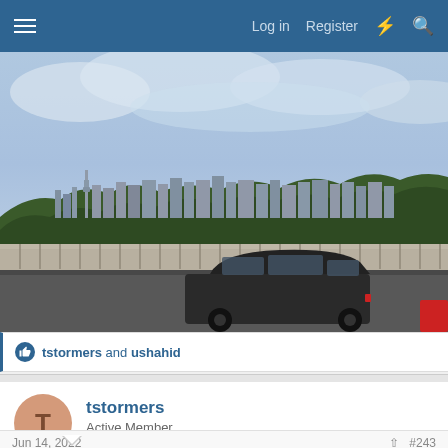Log in  Register
[Figure (photo): A city skyline (appears to be Toronto with the CN Tower visible) viewed from a bridge or highway. A dark SUV/minivan is in the foreground on the road. Trees cover the hillside between the road and the skyline. Cloudy blue sky above.]
tstormers and ushahid
tstormers
Active Member
Jun 14, 2022  #243